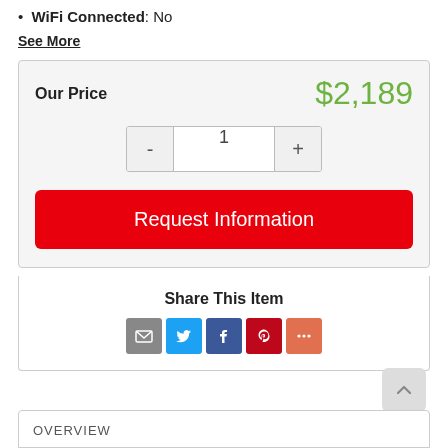WiFi Connected: No
See More
Our Price  $2,189
Request Information
Share This Item
OVERVIEW